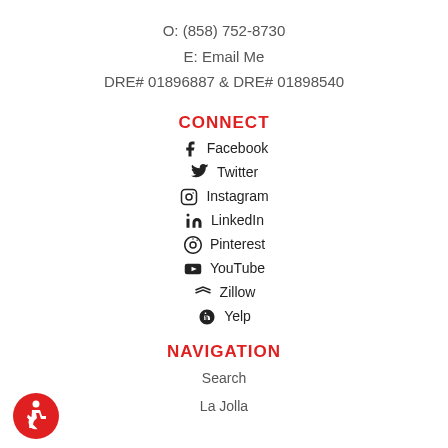O: (858) 752-8730
E: Email Me
DRE# 01896887 & DRE# 01898540
CONNECT
Facebook
Twitter
Instagram
LinkedIn
Pinterest
YouTube
Zillow
Yelp
NAVIGATION
Search
La Jolla
[Figure (illustration): Accessibility icon: red circle with wheelchair symbol]